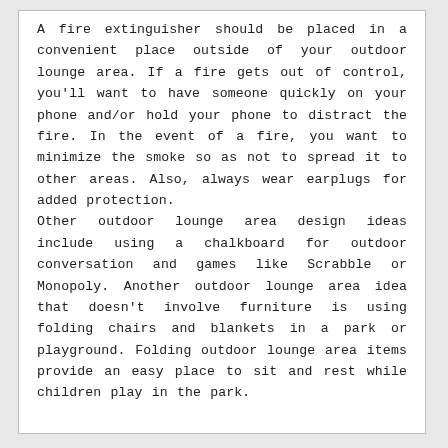A fire extinguisher should be placed in a convenient place outside of your outdoor lounge area. If a fire gets out of control, you'll want to have someone quickly on your phone and/or hold your phone to distract the fire. In the event of a fire, you want to minimize the smoke so as not to spread it to other areas. Also, always wear earplugs for added protection. Other outdoor lounge area design ideas include using a chalkboard for outdoor conversation and games like Scrabble or Monopoly. Another outdoor lounge area idea that doesn't involve furniture is using folding chairs and blankets in a park or playground. Folding outdoor lounge area items provide an easy place to sit and rest while children play in the park.